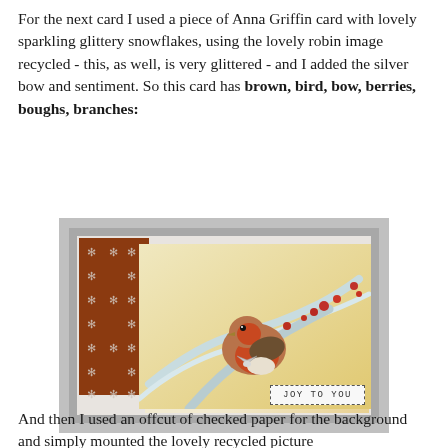For the next card I used a piece of Anna Griffin card with lovely sparkling glittery snowflakes, using the lovely robin image recycled - this, as well, is very glittered - and I added the silver bow and sentiment. So this card has brown, bird, bow, berries, boughs, branches:
[Figure (photo): A handmade Christmas card featuring a robin bird perched on a snow-covered branch with red berries, mounted on an Anna Griffin patterned paper with a rust/brown border decorated with silver glittery snowflakes. A silver bow accent is on the robin image and a 'JOY TO YOU' sentiment label is in the lower right. The card is mounted on grey/silver card stock.]
And then I used an offcut of checked paper for the background and simply mounted the lovely recycled picture